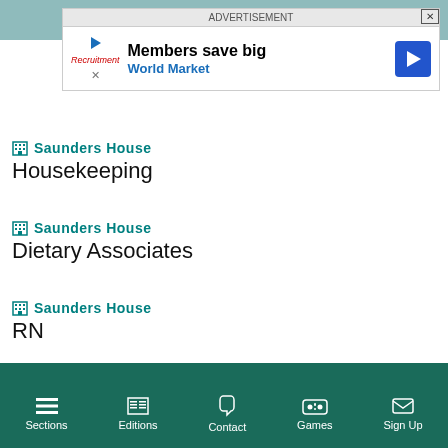[Figure (screenshot): Advertisement banner: Members save big - World Market]
Saunders House
Housekeeping
Saunders House
Dietary Associates
Saunders House
RN
VIEW ALL JOBS...
Sections  Editions  Contact  Games  Sign Up